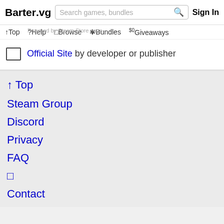Barter.vg  Search games, bundles  Sign In
↑Top  ?Help  ⊞Browse  ✳Bundles  $0Giveaways
Powered by Steam Store page
Official Site by developer or publisher
↑ Top
Steam Group
Discord
Privacy
FAQ
□
Contact